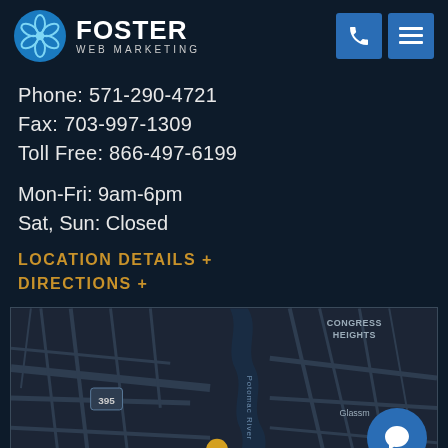[Figure (logo): Foster Web Marketing logo with blue flower/atom icon and company name]
Phone: 571-290-4721
Fax: 703-997-1309
Toll Free: 866-497-6199
Mon-Fri: 9am-6pm
Sat, Sun: Closed
LOCATION DETAILS +
DIRECTIONS +
[Figure (map): Dark-themed map showing Alexandria, VA area with the Potomac River, route 395, Congress Heights, Glassman area, and a location pin marker in Alexandria]